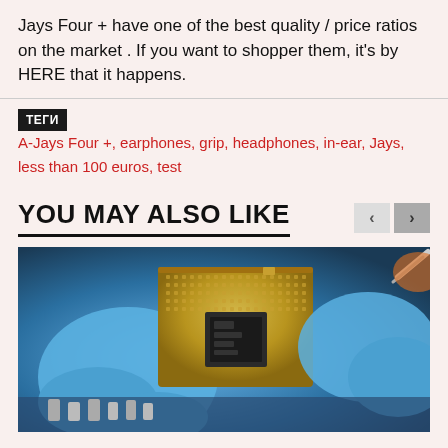Jays Four + have one of the best quality / price ratios on the market . If you want to shopper them, it's by HERE that it happens.
ТЕГИ   A-Jays Four +, earphones, grip, headphones, in-ear, Jays, less than 100 euros, test
YOU MAY ALSO LIKE
[Figure (photo): Close-up photo of a CPU processor being held by blue-gloved hands above a motherboard with electronic components visible.]